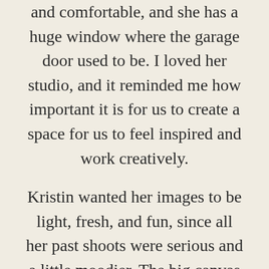and comfortable, and she has a huge window where the garage door used to be. I loved her studio, and it reminded me how important it is for us to create a space for us to feel inspired and work creatively.
Kristin wanted her images to be light, fresh, and fun, since all her past shoots were serious and a little moodier. The big canvas behind her has the llama titled “Kristin”, so I definitely incorporated that piece